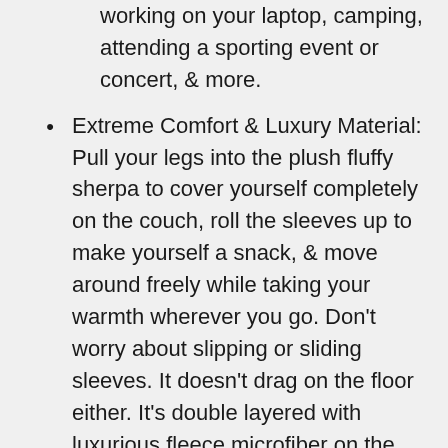working on your laptop, camping, attending a sporting event or concert, & more.
Extreme Comfort & Luxury Material: Pull your legs into the plush fluffy sherpa to cover yourself completely on the couch, roll the sleeves up to make yourself a snack, & move around freely while taking your warmth wherever you go. Don't worry about slipping or sliding sleeves. It doesn't drag on the floor either. It's double layered with luxurious fleece microfiber on the outside and premium fluffy sherpa on the inside.
Oversized Everything: It's giant, and it's supposed to be! We started with a